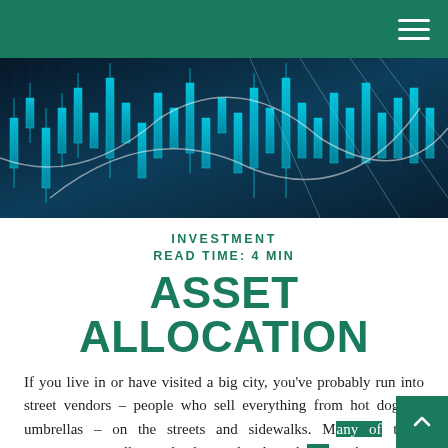[Figure (photo): Abstract financial trading chart visualization with glowing blue candlestick patterns on dark background]
INVESTMENT
READ TIME: 4 MIN
ASSET ALLOCATION
If you live in or have visited a big city, you've probably run into street vendors – people who sell everything from hot dogs to umbrellas – on the streets and sidewalks. Many of these entrepreneurs sell completely unrelated products, such as coffee and ice cream.